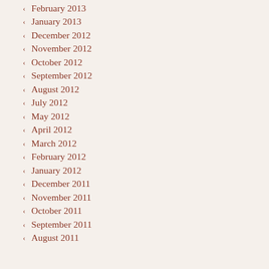February 2013
January 2013
December 2012
November 2012
October 2012
September 2012
August 2012
July 2012
May 2012
April 2012
March 2012
February 2012
January 2012
December 2011
November 2011
October 2011
September 2011
August 2011